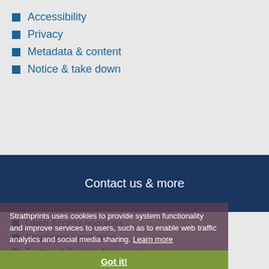Accessibility
Privacy
Metadata & content
Notice & take down
Contact us & more
Open Access enquiries
Strathprints enquiries
Twitter, & Tumblr, follow us!
STAX: browse open theses!
Strathprints uses cookies to provide system functionality and improve services to users, such as to enable web traffic analytics and social media sharing. Learn more
Got it!